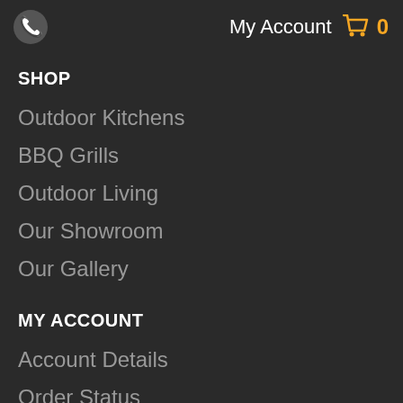My Account  0
SHOP
Outdoor Kitchens
BBQ Grills
Outdoor Living
Our Showroom
Our Gallery
MY ACCOUNT
Account Details
Order Status
View Cart